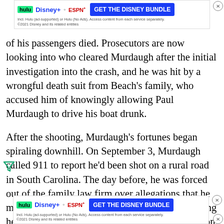[Figure (screenshot): Hulu Disney+ ESPN+ GET THE DISNEY BUNDLE advertisement banner at the top of the page. Includes logos and fine print: 'Incl. Hulu (ad-supported) or Hulu (No Ads). Access content from each service separately. ©2021 Disney and its related entities']
The young man driving one of his passengers died. Prosecutors are now looking into who cleared Murdaugh after the initial investigation into the crash, and he was hit by a wrongful death suit from Beach's family, who accused him of knowingly allowing Paul Murdaugh to drive his boat drunk.
After the shooting, Murdaugh's fortunes began spiraling downhill. On September 3, Murdaugh called 911 to report he'd been shot on a rural road in South Carolina. The day before, he was forced out of the family law firm over allegations that he misappropriated funds. Two days after the shooting he announced he was entering a drug rehabilitation facility.
The investigation into the shooting charged Murdaugh with a “suicide for hire” plot, in which he hired an ex-client to kill him so his surviving son could get a $10 million insurance payout. Then in October, he was arrested for allegedly stealing $4.3 million from the Satterfield estate, and multiple other charges.
[Figure (screenshot): Hulu Disney+ ESPN+ GET THE DISNEY BUNDLE advertisement banner at the bottom of the page. Includes logos and fine print: 'Incl. Hulu (ad-supported) or Hulu (No Ads). Access content from each service separately. ©2021 Disney and its related entities']